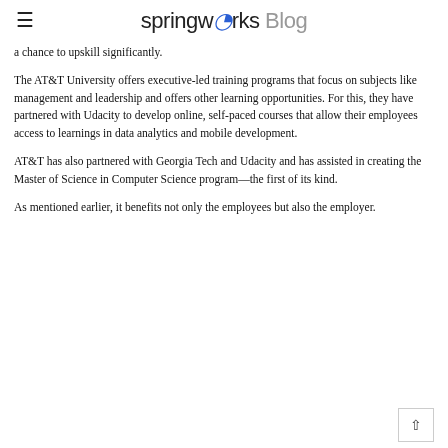springworks Blog
a chance to upskill significantly.
The AT&T University offers executive-led training programs that focus on subjects like management and leadership and offers other learning opportunities. For this, they have partnered with Udacity to develop online, self-paced courses that allow their employees access to learnings in data analytics and mobile development.
AT&T has also partnered with Georgia Tech and Udacity and has assisted in creating the Master of Science in Computer Science program—the first of its kind.
As mentioned earlier, it benefits not only the employees but also the employer.